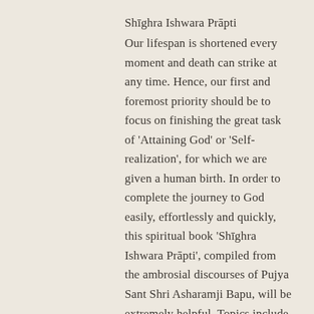Shīghra Ishwara Prāpti
Our lifespan is shortened every moment and death can strike at any time. Hence, our first and foremost priority should be to focus on finishing the great task of 'Attaining God' or 'Self-realization', for which we are given a human birth. In order to complete the journey to God easily, effortlessly and quickly, this spiritual book 'Shīghra Ishwara Prāpti', compiled from the ambrosial discourses of Pujya Sant Shri Asharamji Bapu, will be extremely helpful. Topics include the following:
* How to quickly attain Self-Realization?
* How to awaken Your Amazing Power?